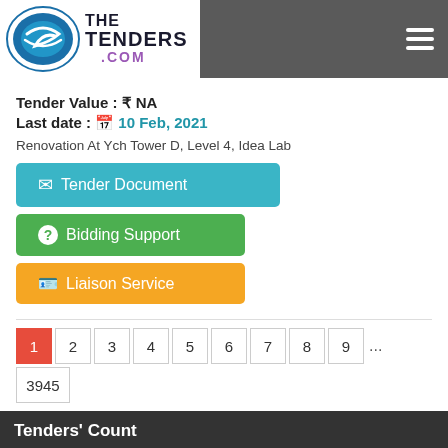[Figure (logo): TheTenders.com logo with blue oval icon and bold text]
Tender Value : ₹ NA
Last date : 10 Feb, 2021
Renovation At Ych Tower D, Level 4, Idea Lab
Tender Document
Bidding Support
Liaison Service
1 2 3 4 5 6 7 8 9 ... 3945
Tenders' Count
All-Tenders (39444)
» Today's-Tenders (0)
» Active-Tenders (0)
» Closed-Tenders (39444)